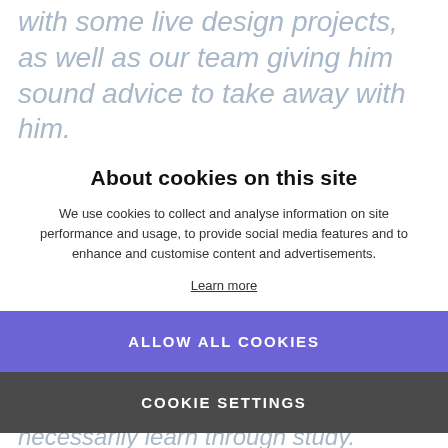with some live design projects, as well as our team giving him sound advice to take away with him.
For those in full time education, we're eager to do all we can to help young aspiring designers by providing work placements, giving them an insight into the creative industry and equip them with key skills they wouldn't necessarily learn through study.
In Liam's words, here's a round up of his experience with us:
About cookies on this site
We use cookies to collect and analyse information on site performance and usage, to provide social media features and to enhance and customise content and advertisements.
Learn more
ALLOW ALL COOKIES
COOKIE SETTINGS